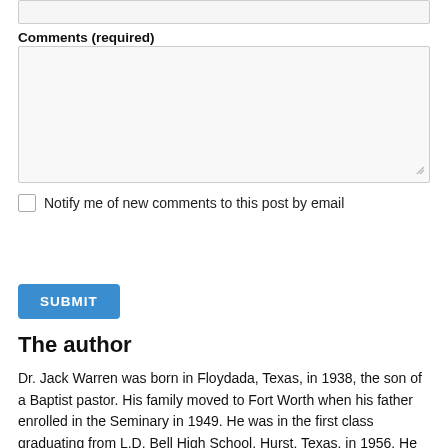Comments (required)
Notify me of new comments to this post by email
SUBMIT
The author
Dr. Jack Warren was born in Floydada, Texas, in 1938, the son of a Baptist pastor. His family moved to Fort Worth when his father enrolled in the Seminary in 1949. He was in the first class graduating from L.D. Bell High School, Hurst, Texas, in 1956. He attended Arlington State College (now University of Texas at Arlington), Arlington Baptist College, Bible Baptist Seminary, the University of Nebraska at